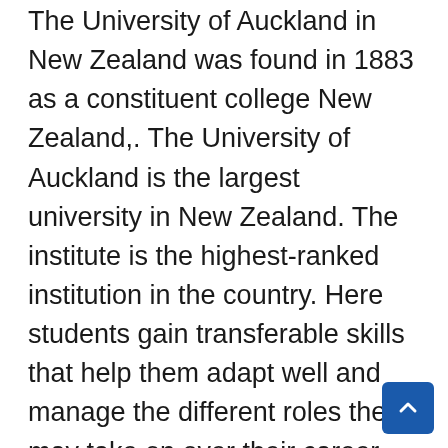The University of Auckland in New Zealand was found in 1883 as a constituent college New Zealand,. The University of Auckland is the largest university in New Zealand. The institute is the highest-ranked institution in the country. Here students gain transferable skills that help them adapt well and manage the different roles they may take on over their career.
The University of Auckland is grateful to announce the Postgraduate Awards to encourage high-calibre applicants for academic study in New Zealand. The Auckland Law School Postgraduate Awards are open for the domestic and international students who will commence